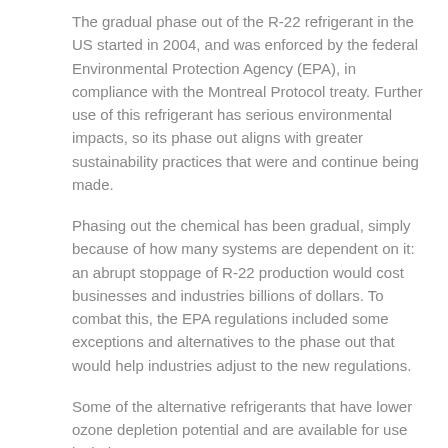The gradual phase out of the R-22 refrigerant in the US started in 2004, and was enforced by the federal Environmental Protection Agency (EPA), in compliance with the Montreal Protocol treaty. Further use of this refrigerant has serious environmental impacts, so its phase out aligns with greater sustainability practices that were and continue being made.
Phasing out the chemical has been gradual, simply because of how many systems are dependent on it: an abrupt stoppage of R-22 production would cost businesses and industries billions of dollars. To combat this, the EPA regulations included some exceptions and alternatives to the phase out that would help industries adjust to the new regulations.
Some of the alternative refrigerants that have lower ozone depletion potential and are available for use include:
R-410A
Propane (R-290)
Pentafluoroethane
R-134a (1,1,1,2-tetrafluoroethane)